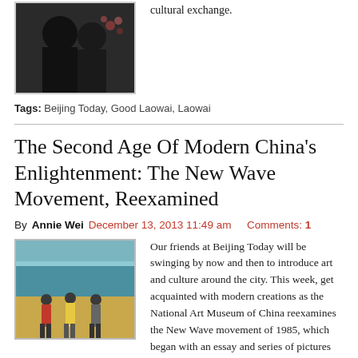[Figure (photo): Photo of two people sitting, one in black clothing, floral pattern visible]
cultural exchange.
Tags: Beijing Today, Good Laowai, Laowai
The Second Age Of Modern China's Enlightenment: The New Wave Movement, Reexamined
By Annie Wei December 13, 2013 11:49 am   Comments: 1
[Figure (photo): Painting of three figures viewed from behind standing on a beach with blue water and yellow sand]
Our friends at Beijing Today will be swinging by now and then to introduce art and culture around the city. This week, get acquainted with modern creations as the National Art Museum of China reexamines the New Wave movement of 1985, which began with an essay and series of pictures